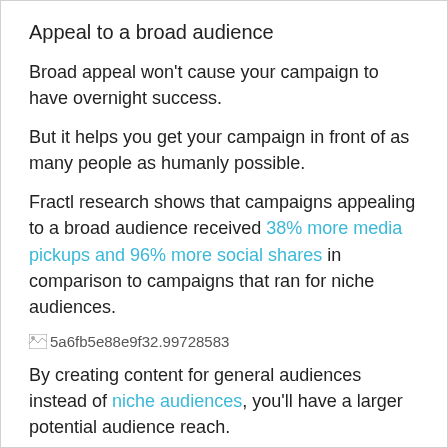Appeal to a broad audience
Broad appeal won't cause your campaign to have overnight success.
But it helps you get your campaign in front of as many people as humanly possible.
Fractl research shows that campaigns appealing to a broad audience received 38% more media pickups and 96% more social shares in comparison to campaigns that ran for niche audiences.
[Figure (other): Image placeholder showing filename: 5a6fb5e88e9f32.99728583]
By creating content for general audiences instead of niche audiences, you'll have a larger potential audience reach.